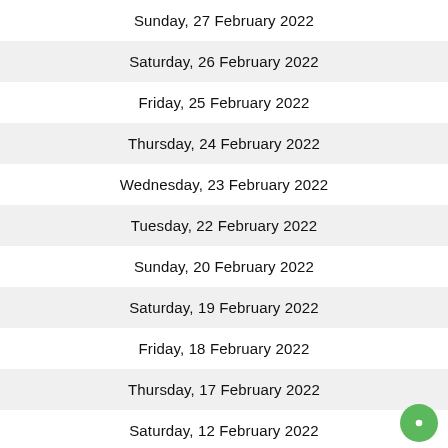Sunday, 27 February 2022
Saturday, 26 February 2022
Friday, 25 February 2022
Thursday, 24 February 2022
Wednesday, 23 February 2022
Tuesday, 22 February 2022
Sunday, 20 February 2022
Saturday, 19 February 2022
Friday, 18 February 2022
Thursday, 17 February 2022
Saturday, 12 February 2022